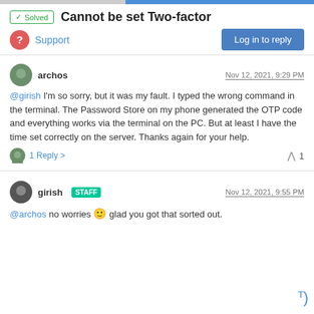Cannot be set Two-factor
Support
archos — Nov 12, 2021, 9:29 PM
@girish I'm so sorry, but it was my fault. I typed the wrong command in the terminal. The Password Store on my phone generated the OTP code and everything works via the terminal on the PC. But at least I have the time set correctly on the server. Thanks again for your help.
1 Reply > ^ 1
girish STAFF — Nov 12, 2021, 9:55 PM
@archos no worries 🙂 glad you got that sorted out.